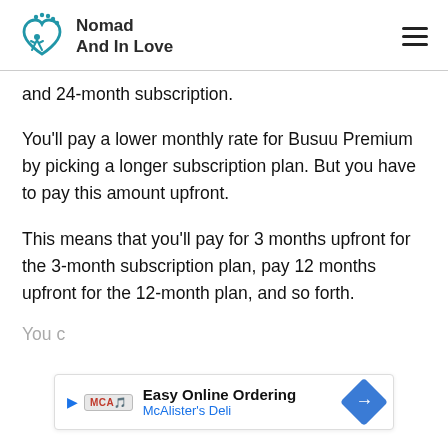Nomad And In Love
and 24-month subscription.
You’ll pay a lower monthly rate for Busuu Premium by picking a longer subscription plan. But you have to pay this amount upfront.
This means that you’ll pay for 3 months upfront for the 3-month subscription plan, pay 12 months upfront for the 12-month plan, and so forth.
You c…
[Figure (screenshot): Advertisement banner: Easy Online Ordering - McAlister's Deli with play button, logo, and directional arrow icon]